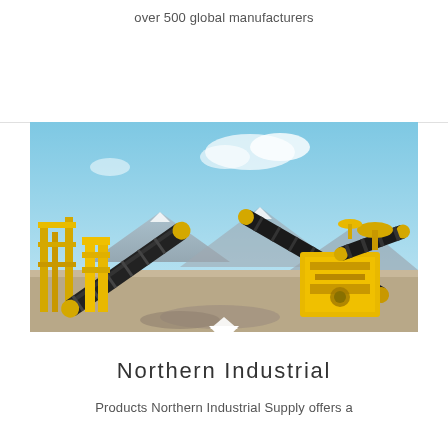over 500 global manufacturers
[Figure (photo): Yellow heavy industrial mining/crushing machinery with conveyor belts against a blue sky with mountains in background]
Northern Industrial
Products Northern Industrial Supply offers a